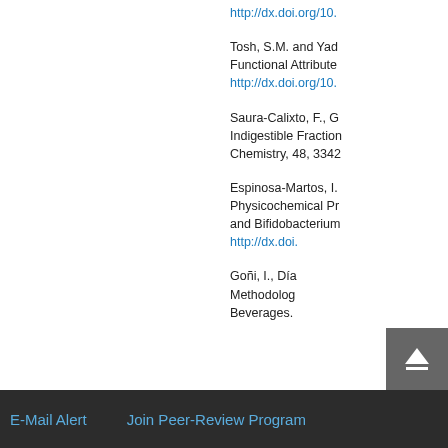http://dx.doi.org/10.
Tosh, S.M. and Yad... Functional Attribute... http://dx.doi.org/10.
Saura-Calixto, F., G... Indigestible Fraction... Chemistry, 48, 3342
Espinosa-Martos, I... Physicochemical Pr... and Bifidobacterium... http://dx.doi.
Goñi, I., Día... Methodology... Beverages.
Top
ABSTRACT
Introduction
Materials and Methods
Results and Discussion
Conclusion
E-Mail Alert    Join Peer-Review Program